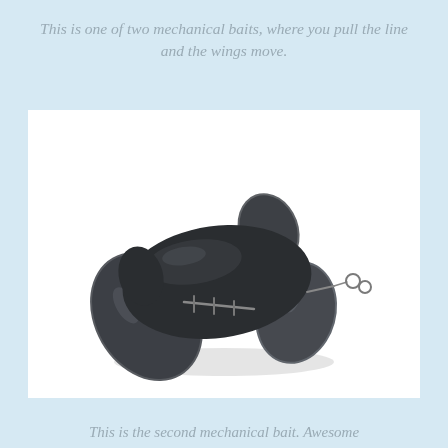This is one of two mechanical baits, where you pull the line and the wings move.
[Figure (photo): A dark black mechanical fishing lure with movable wing-like paddles attached by wire hardware, shown with wings extended outward on a white background.]
This is the second mechanical bait. Awesome